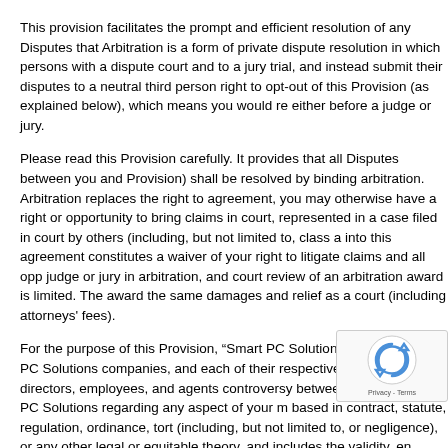This provision facilitates the prompt and efficient resolution of any Disputes that Arbitration is a form of private dispute resolution in which persons with a dispute court and to a jury trial, and instead submit their disputes to a neutral third person right to opt-out of this Provision (as explained below), which means you would re either before a judge or jury.
Please read this Provision carefully. It provides that all Disputes between you and Provision) shall be resolved by binding arbitration. Arbitration replaces the right to agreement, you may otherwise have a right or opportunity to bring claims in court, represented in a case filed in court by others (including, but not limited to, class a into this agreement constitutes a waiver of your right to litigate claims and all opp judge or jury in arbitration, and court review of an arbitration award is limited. The award the same damages and relief as a court (including attorneys' fees).
For the purpose of this Provision, “Smart PC Solutions” means Smart PC Solutions companies, and each of their respective officers, directors, employees, and agents controversy between you and Smart PC Solutions regarding any aspect of your m based in contract, statute, regulation, ordinance, tort (including, but not limited to, or negligence), or any other legal or equitable theory, and includes the validity, en exception of the enforceability of the Class Action Waiver clause below). “Dispute will be enforced.
WE EACH AGREE THAT, EXCEPT AS PROVIDED BELOW, ANY AND ALL DISP PRESENTLY IN EXISTENCE OR BASED ON ACTS OR OMISSIONS IN THE PA EXCLUSIVELY AND FINALLY BY BINDING ARBITRATION RATHER THAN IN C